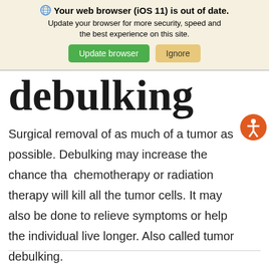[Figure (screenshot): Browser update notification banner with globe icon, bold text 'Your web browser (iOS 11) is out of date.', subtitle text, and two buttons: green 'Update browser' and tan 'Ignore']
debulking
Surgical removal of as much of a tumor as possible. Debulking may increase the chance that chemotherapy or radiation therapy will kill all the tumor cells. It may also be done to relieve symptoms or help the individual live longer. Also called tumor debulking.